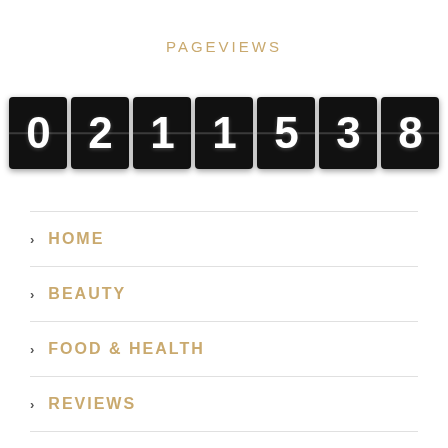PAGEVIEWS
[Figure (infographic): Odometer-style page view counter displaying the number 0211538, with each digit shown in a black rounded box with white numerals]
> HOME
> BEAUTY
> FOOD & HEALTH
> REVIEWS
> LIFE
> INSPIRATION